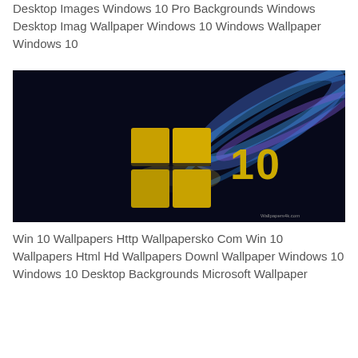Desktop Images Windows 10 Pro Backgrounds Windows Desktop Imag Wallpaper Windows 10 Windows Wallpaper Windows 10
[Figure (illustration): Windows 10 wallpaper showing the Windows logo (gold/yellow four-pane window icon) and the number '10' in yellow/gold text, set against a dark navy blue background with glowing blue and purple light streaks radiating from the logo.]
Win 10 Wallpapers Http Wallpapersko Com Win 10 Wallpapers Html Hd Wallpapers Downl Wallpaper Windows 10 Windows 10 Desktop Backgrounds Microsoft Wallpaper